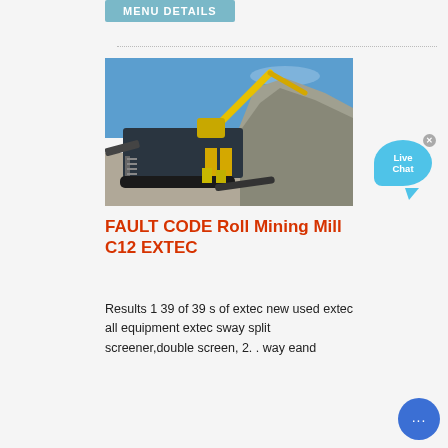MENU DETAILS
[Figure (photo): Mining crusher/screener machine at a quarry site with a yellow excavator arm and large pile of aggregate rock in the background, outdoors under blue sky.]
FAULT CODE Roll Mining Mill C12 EXTEC
Results 1 39 of 39 s of extec new used extec all equipment extec sway split screener,double screen, 2. . way eand